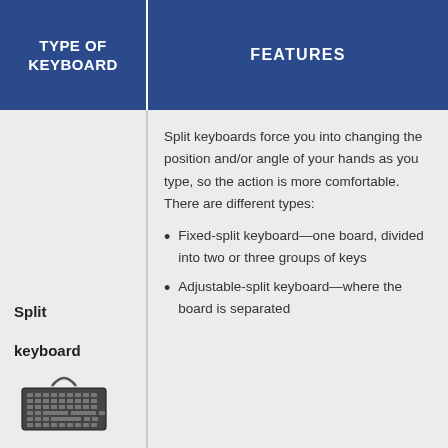| TYPE OF KEYBOARD | FEATURES |
| --- | --- |
| Split keyboard | Split keyboards force you into changing the position and/or angle of your hands as you type, so the action is more comfortable. There are different types:
• Fixed-split keyboard—one board, divided into two or three groups of keys
• Adjustable-split keyboard—where the board is separated |
[Figure (illustration): Illustration of a split keyboard showing a keyboard divided into sections]